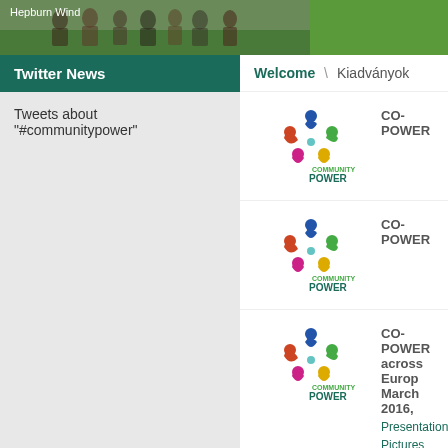[Figure (photo): Photo banner of group of people outdoors, with text 'Hepburn Wind' overlay]
Twitter News
Tweets about "#communitypower"
Welcome \ Kiadványok
[Figure (logo): Community Power logo - circular figures in multiple colors with text COMMUNITY POWER]
CO-POWER
[Figure (logo): Community Power logo - circular figures in multiple colors with text COMMUNITY POWER]
CO-POWER
[Figure (logo): Community Power logo - circular figures in multiple colors with text COMMUNITY POWER]
CO-POWER across Europe March 2016,
Presentation
Pictures